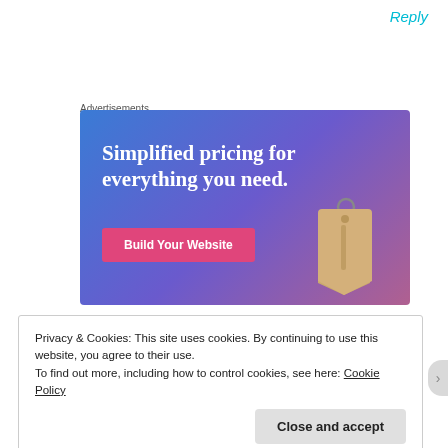Reply
Advertisements
[Figure (illustration): Advertisement banner with gradient blue-purple-pink background. Text reads 'Simplified pricing for everything you need.' with a pink 'Build Your Website' button and a 3D price tag image on the right.]
Privacy & Cookies: This site uses cookies. By continuing to use this website, you agree to their use.
To find out more, including how to control cookies, see here: Cookie Policy
Close and accept